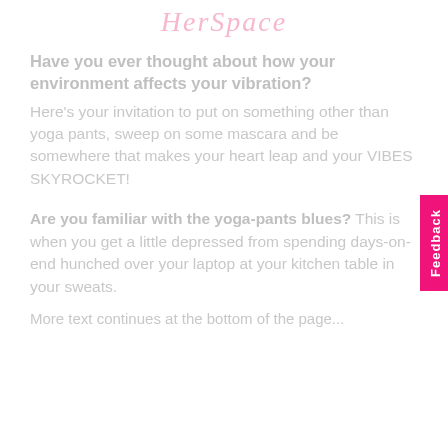HerSpace
Have you ever thought about how your environment affects your vibration?
Here's your invitation to put on something other than yoga pants, sweep on some mascara and be somewhere that makes your heart leap and your VIBES SKYROCKET!
Are you familiar with the yoga-pants blues? This is when you get a little depressed from spending days-on-end hunched over your laptop at your kitchen table in your sweats.
More text continues below...